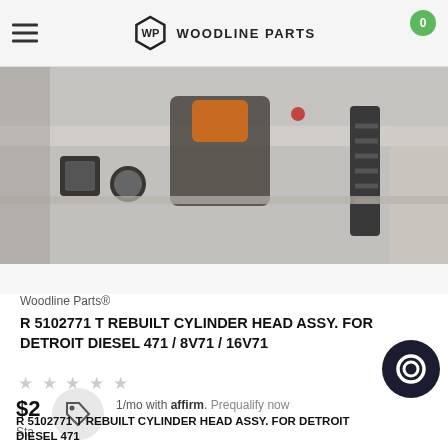WP WOODLINE PARTS
[Figure (photo): Close-up photo of engine cylinder head components including bolts, injectors, and springs on a metallic surface]
Woodline Parts®
R 5102771 T REBUILT CYLINDER HEAD ASSY. FOR DETROIT DIESEL 471 / 8V71 / 16V71
★ ★ ★ ★ ★ (empty stars rating)
$2
Starting from
1/mo with affirm. Prequalify now
R 5102771 T REBUILT CYLINDER HEAD ASSY. FOR DETROIT DIESEL 471